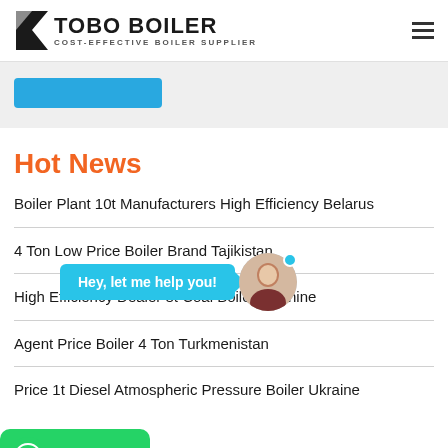[Figure (logo): TOBO BOILER logo with black kite/arrow icon and text 'TOBO BOILER / COST-EFFECTIVE BOILER SUPPLIER']
[Figure (screenshot): Blue button (truncated) in a light grey section]
Hot News
Boiler Plant 10t Manufacturers High Efficiency Belarus
4 Ton Low Price Boiler Brand Tajikistan
High Efficiency Dealer 8t Coal Boiler Machine
Agent Price Boiler 4 Ton Turkmenistan
Price 1t Diesel Atmospheric Pressure Boiler Ukraine
[Figure (screenshot): Chat bubble overlay saying 'Hey, let me help you!' with female avatar]
[Figure (screenshot): WhatsApp button in green]